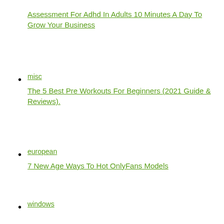Assessment For Adhd In Adults 10 Minutes A Day To Grow Your Business
misc
The 5 Best Pre Workouts For Beginners (2021 Guide & Reviews).
european
7 New Age Ways To Hot OnlyFans Models
windows